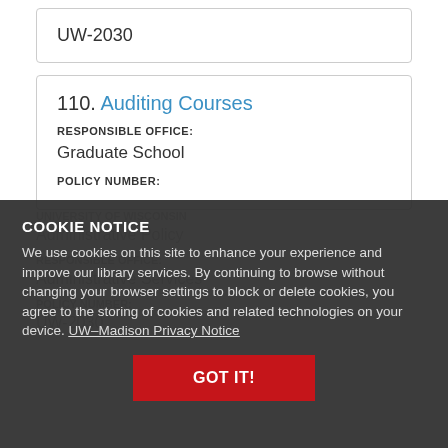UW-2030
110. Auditing Courses
RESPONSIBLE OFFICE:
Graduate School
POLICY NUMBER:
COOKIE NOTICE
We use cookies on this site to enhance your experience and improve our library services. By continuing to browse without changing your browser settings to block or delete cookies, you agree to the storing of cookies and related technologies on your device. UW–Madison Privacy Notice
GOT IT!